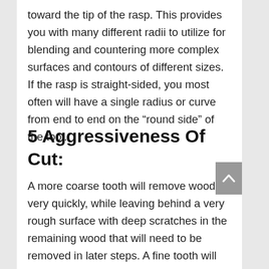toward the tip of the rasp. This provides you with many different radii to utilize for blending and countering more complex surfaces and contours of different sizes. If the rasp is straight-sided, you most often will have a single radius or curve from end to end on the “round side” of the tool.
5 Aggressiveness Of Cut:
A more coarse tooth will remove wood very quickly, while leaving behind a very rough surface with deep scratches in the remaining wood that will need to be removed in later steps. A fine tooth will remove wood less aggressively and will leave behind a surface that is less rough than the coarse tooth. There will